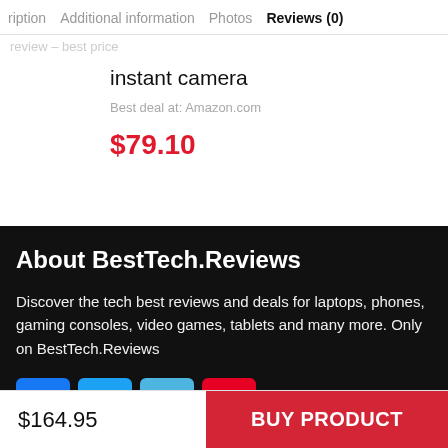ription  Additional information  Photos  Reviews (0)
instant camera
Best deal at: Amazon.com
$79.10
About BestTech.Reviews
Discover the tech best reviews and deals for laptops, phones, gaming consoles, video games, tablets and many more. Only on BestTech.Reviews
[Figure (other): Social media icons row: Facebook, Twitter, Instagram, Pinterest]
$164.95  BUY PRODUCT